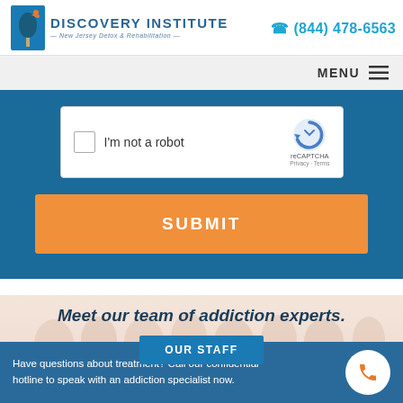[Figure (logo): Discovery Institute logo with blue tree icon and text 'DISCOVERY INSTITUTE New Jersey Detox & Rehabilitation']
(844) 478-6563
MENU
[Figure (other): reCAPTCHA checkbox widget with 'I'm not a robot' text]
SUBMIT
Meet our team of addiction experts.
OUR STAFF
Have questions about treatment? Call our confidential hotline to speak with an addiction specialist now.